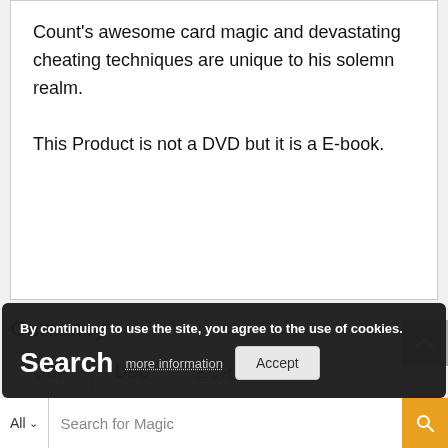Count's awesome card magic and devastating cheating techniques are unique to his solemn realm.

This Product is not a DVD but it is a E-book.
Currency
GBP | USD | EUR
By continuing to use the site, you agree to the use of cookies.
Search
more information
Accept
Search for Magic